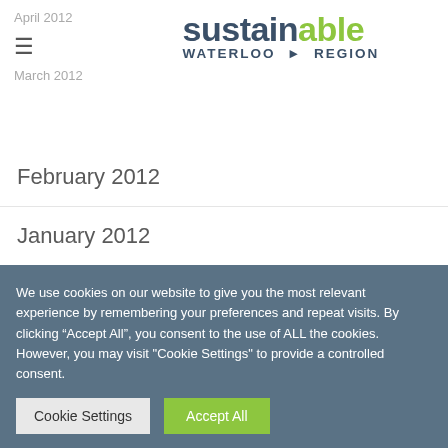sustainable WATERLOO REGION
February 2012
January 2012
December 2011
November 2011
October 2011
We use cookies on our website to give you the most relevant experience by remembering your preferences and repeat visits. By clicking “Accept All”, you consent to the use of ALL the cookies. However, you may visit "Cookie Settings" to provide a controlled consent.
Cookie Settings  Accept All